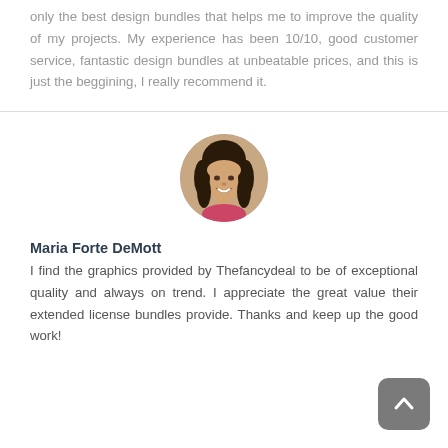only the best design bundles that helps me to improve the quality of my projects. My experience has been 10/10, good customer service, fantastic design bundles at unbeatable prices, and this is just the beggining, I really recommend it.
[Figure (photo): Circular profile photo of a young woman smiling, with dark hair]
Maria Forte DeMott
I find the graphics provided by Thefancydeal to be of exceptional quality and always on trend. I appreciate the great value their extended license bundles provide. Thanks and keep up the good work!
[Figure (other): Scroll-to-top button, gray rounded square with white upward arrow]